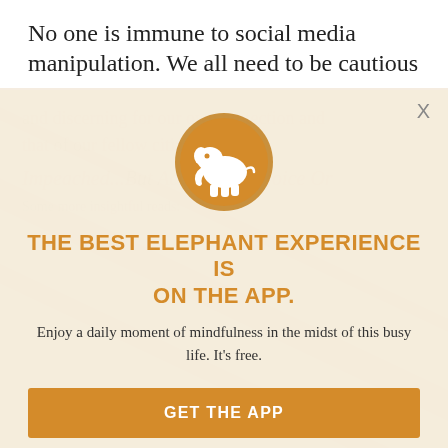No one is immune to social media manipulation. We all need to be cautious
and discerning for our own protection and that of our fellow citizens.
[Figure (logo): Orange circle with white elephant silhouette — Elephant Journal app logo]
THE BEST ELEPHANT EXPERIENCE IS ON THE APP.
Enjoy a daily moment of mindfulness in the midst of this busy life. It's free.
GET THE APP
OPEN IN APP